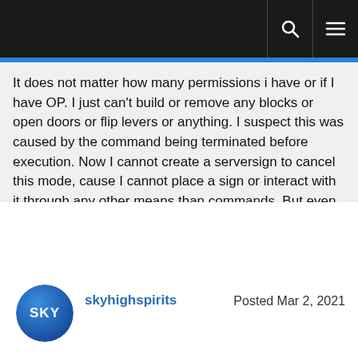[navigation bar with search and menu icons]
It does not matter how many permissions i have or if I have OP. I just can't build or remove any blocks or open doors or flip levers or anything. I suspect this was caused by the command being terminated before execution. Now I cannot create a serversign to cancel this mode, cause I cannot place a sign or interact with it through any other means than commands. But even commands seems not to work for serversigns as right clicking on a sign seems to go unregistered. This problem has essentially shut down development of our server until the problem is fixed, which unfortunately costs us money without revenue :/

I hope you can help us out with this issue :)
skyhighspirits    Posted Mar 2, 2021